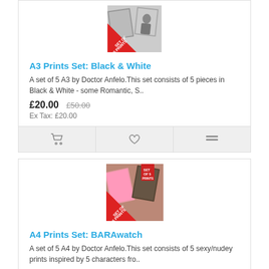[Figure (photo): Product image for A3 Prints Set Black & White - collage of black and white photos with a red 'SET OF 5 PRINTS' corner badge]
A3 Prints Set: Black & White
A set of 5 A3 by Doctor Anfelo.This set consists of 5 pieces in Black & White - some Romantic, S..
£20.00  £50.00
Ex Tax: £20.00
[Figure (screenshot): Action buttons row: cart icon, heart icon, compare icon on grey background]
[Figure (photo): Product image for A4 Prints Set BARAwatch - collage of colorful prints with a red 'SET OF 5 PRINTS' corner badge]
A4 Prints Set: BARAwatch
A set of 5 A4 by Doctor Anfelo.This set consists of 5 sexy/nudey prints inspired by 5 characters fro..